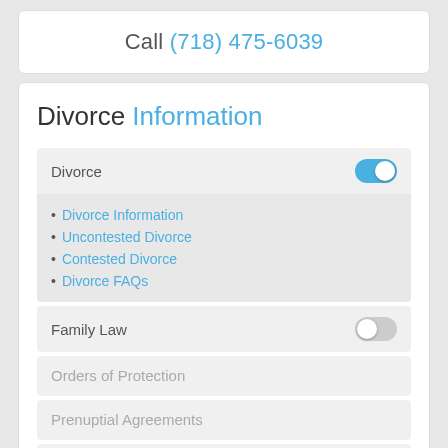Call (718) 475-6039
Divorce Information
Divorce [toggle on]
Divorce Information
Uncontested Divorce
Contested Divorce
Divorce FAQs
Family Law [toggle off]
Orders of Protection
Prenuptial Agreements
Divorce/Family Law Blog